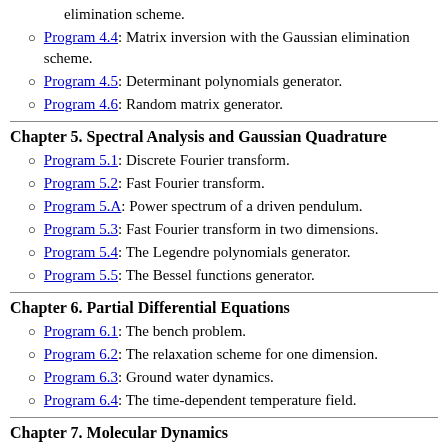elimination scheme.
Program 4.4: Matrix inversion with the Gaussian elimination scheme.
Program 4.5: Determinant polynomials generator.
Program 4.6: Random matrix generator.
Chapter 5. Spectral Analysis and Gaussian Quadrature
Program 5.1: Discrete Fourier transform.
Program 5.2: Fast Fourier transform.
Program 5.A: Power spectrum of a driven pendulum.
Program 5.3: Fast Fourier transform in two dimensions.
Program 5.4: The Legendre polynomials generator.
Program 5.5: The Bessel functions generator.
Chapter 6. Partial Differential Equations
Program 6.1: The bench problem.
Program 6.2: The relaxation scheme for one dimension.
Program 6.3: Ground water dynamics.
Program 6.4: The time-dependent temperature field.
Chapter 7. Molecular Dynamics